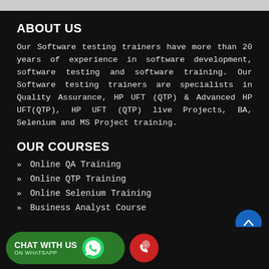ABOUT US
Our Software testing trainers have more than 20 years of experience in software development, software testing and software training. Our Software testing trainers are specialists in Quality Assurance, HP UFT (QTP) & Advanced HP UFT(QTP), HP UFT (QTP) live Projects, BA, Selenium and MS Project training.
OUR COURSES
» Online QA Training
» Online QTP Training
» Online Selenium Training
» Business Analyst Course
» Soap UI Testing
[Figure (infographic): Green rounded button with WhatsApp logo reading CHAT WITH US ON WHATSAPP, a red phone/call button, a blue scroll-up arrow button, and a blue Message button]